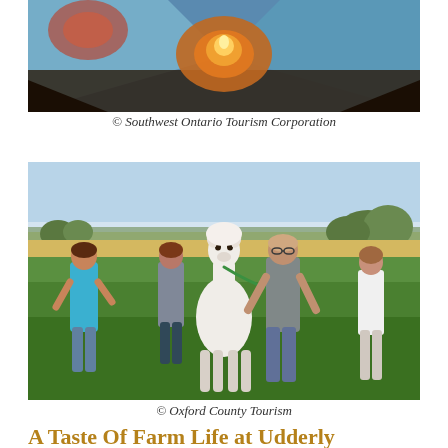[Figure (photo): View from inside a tent looking out at a campfire glowing at night, with colorful tent fabric visible]
© Southwest Ontario Tourism Corporation
[Figure (photo): People walking with a white alpaca on a leash through a green field on a sunny day. Four people visible including a man in grey t-shirt leading the alpaca, a woman in blue shirt, another woman behind, and a young woman in the background.]
© Oxford County Tourism
A Taste Of Farm Life at Udderly Ridiculous